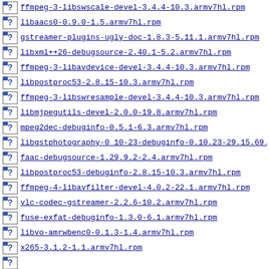ffmpeg-3-libswscale-devel-3.4.4-10.3.armv7hl.rpm
libaacs0-0.9.0-1.5.armv7hl.rpm
gstreamer-plugins-ugly-doc-1.8.3-5.11.1.armv7hl.rpm
libxml++26-debugsource-2.40.1-5.2.armv7hl.rpm
ffmpeg-3-libavdevice-devel-3.4.4-10.3.armv7hl.rpm
libpostproc53-2.8.15-10.3.armv7hl.rpm
ffmpeg-3-libswresample-devel-3.4.4-10.3.armv7hl.rpm
libmjpegutils-devel-2.0.0-19.8.armv7hl.rpm
mpeg2dec-debuginfo-0.5.1-6.3.armv7hl.rpm
libgstphotography-0_10-23-debuginfo-0.10.23-29.15.69.
faac-debugsource-1.29.9.2-2.4.armv7hl.rpm
libpostproc53-debuginfo-2.8.15-10.3.armv7hl.rpm
ffmpeg-4-libavfilter-devel-4.0.2-22.1.armv7hl.rpm
vlc-codec-gstreamer-2.2.6-10.2.armv7hl.rpm
fuse-exfat-debuginfo-1.3.0-6.1.armv7hl.rpm
libvo-amrwbenc0-0.1.3-1.4.armv7hl.rpm
x265-3.1.2-1.1.armv7hl.rpm
...